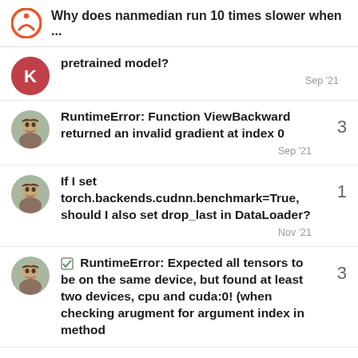Why does nanmedian run 10 times slower when ...
pretrained model?
RuntimeError: Function ViewBackward returned an invalid gradient at index 0
If I set torch.backends.cudnn.benchmark=True, should I also set drop_last in DataLoader?
☑ RuntimeError: Expected all tensors to be on the same device, but found at least two devices, cpu and cuda:0! (when checking arugment for argument index in method